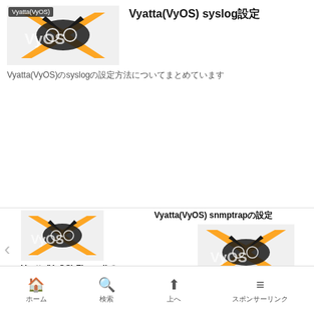Vyatta(VyOS) syslog設定
[Figure (screenshot): VyOS logo image thumbnail with orange and black bird/gear design]
Vyatta(VyOS)のsyslogの設定方法についてまとめています
[Figure (screenshot): VyOS logo image thumbnail for Firewall Zone Based article]
Vyatta(VyOS) FirewallでのZone Based設定
[Figure (screenshot): VyOS logo image thumbnail for snmptrap article]
Vyatta(VyOS) snmptrapの設定
ホーム　検索　上へ　スポンサーリンク